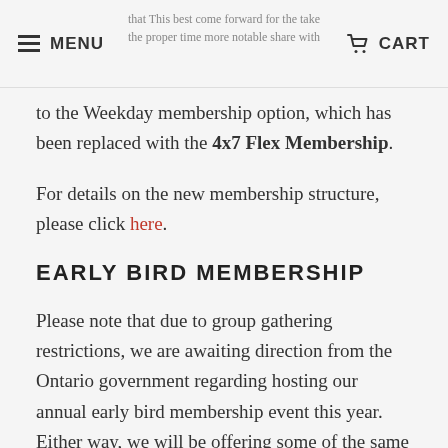MENU | CART
to the Weekday membership option, which has been replaced with the 4x7 Flex Membership.
For details on the new membership structure, please click here.
EARLY BIRD MEMBERSHIP
Please note that due to group gathering restrictions, we are awaiting direction from the Ontario government regarding hosting our annual early bird membership event this year. Either way, we will be offering some of the same specials as previous years, for early bird